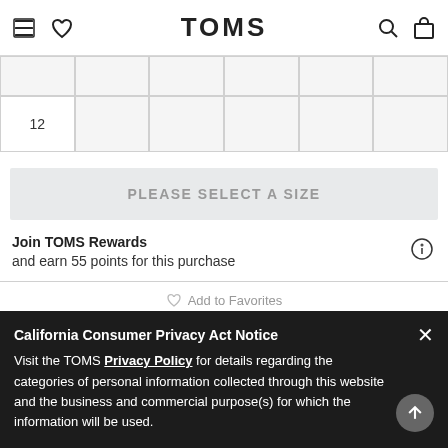TOMS
|  |  |  |  |  |  |
| 12 |  |  |  |  |  |
PLEASE SELECT A SIZE
Join TOMS Rewards
and earn 55 points for this purchase
Add to Favorites
California Consumer Privacy Act Notice
Visit the TOMS Privacy Policy for details regarding the categories of personal information collected through this website and the business and commercial purpose(s) for which the information will be used.